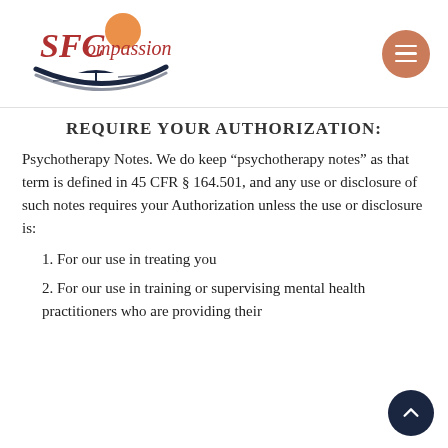SFCompassion [logo] [hamburger menu]
REQUIRE YOUR AUTHORIZATION:
Psychotherapy Notes. We do keep “psychotherapy notes” as that term is defined in 45 CFR § 164.501, and any use or disclosure of such notes requires your Authorization unless the use or disclosure is:
1. For our use in treating you
2. For our use in training or supervising mental health practitioners who are providing